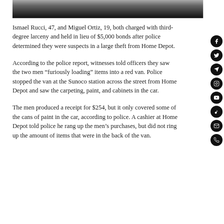[Figure (photo): Partial view of a person's head/shoulder area, dark background, wearing a dark shirt]
Ismael Rucci, 47, and Miguel Ortiz, 19, both charged with third-degree larceny and held in lieu of $5,000 bonds after police determined they were suspects in a large theft from Home Depot.
According to the police report, witnesses told officers they saw the two men “furiously loading” items into a red van. Police stopped the van at the Sunoco station across the street from Home Depot and saw the carpeting, paint, and cabinets in the car.
The men produced a receipt for $254, but it only covered some of the cans of paint in the car, according to police. A cashier at Home Depot told police he rang up the men’s purchases, but did not ring up the amount of items that were in the back of the van.